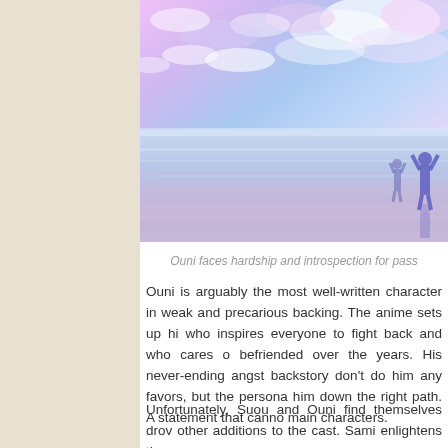[Figure (illustration): Anime-style illustration showing two figures standing on a reflective surface under a colorful sky with pink, purple, and blue clouds. One figure appears to have arms raised.]
Ouni faces hardship and introspection for pass
Ouni is arguably the most well-written character in weak and precarious backing. The anime sets up hi who inspires everyone to fight back and who cares o befriended over the years. His never-ending angst backstory don't do him any favors, but the persona him down the right path. A statement that canno main characters.
Unfortunately, Suou and Ouni find themselves drov other additions to the cast. Sami enlightens the au